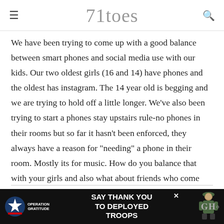71toes
We have been trying to come up with a good balance between smart phones and social media use with our kids. Our two oldest girls (16 and 14) have phones and the oldest has instagram. The 14 year old is begging and we are trying to hold off a little longer. We've also been trying to start a phones stay upstairs rule-no phones in their rooms but so far it hasn't been enforced, they always have a reason for "needing" a phone in their room. Mostly its for music. How do you balance that with your girls and also what about friends who come over? Do they all keep their phones in the kitchen too?
SHAWNI
REPLY
[Figure (infographic): Operation Gratitude advertisement banner: 'SAY THANK YOU TO DEPLOYED TROOPS' with logo and soldier illustration on dark background]